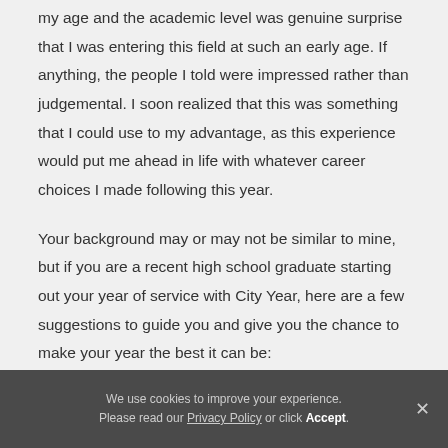my age and the academic level was genuine surprise that I was entering this field at such an early age. If anything, the people I told were impressed rather than judgemental. I soon realized that this was something that I could use to my advantage, as this experience would put me ahead in life with whatever career choices I made following this year.
Your background may or may not be similar to mine, but if you are a recent high school graduate starting out your year of service with City Year, here are a few suggestions to guide you and give you the chance to make your year the best it can be:
We use cookies to improve your experience. Please read our Privacy Policy or click Accept.